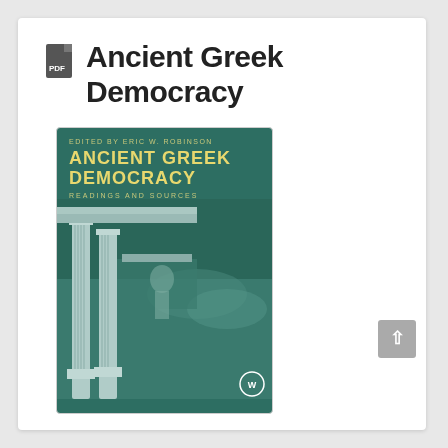Ancient Greek Democracy
[Figure (photo): Book cover of 'Ancient Greek Democracy: Readings and Sources' edited by Eric W. Robinson, published by Wiley-Blackwell. Cover shows a teal-tinted image of Greek architectural columns.]
Author : Eric W. Robinson
Publisher : John Wiley & Sons
Release : 2008-04-15
ISBN : 047075219X
Language : En, Es, Fr & De